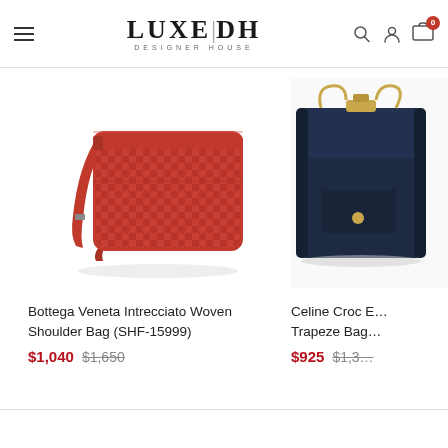LUXE|DH DESIGNER HOUSE
[Figure (photo): Red Bottega Veneta Intrecciato woven leather crossbody shoulder bag with strap]
Bottega Veneta Intrecciato Woven Shoulder Bag (SHF-15999)
$1,040   $1,650
[Figure (photo): Dark navy Celine Croc Embossed Trapeze Bag, partially cropped]
Celine Croc Embossed Trapeze Bag
$925   $1,3...